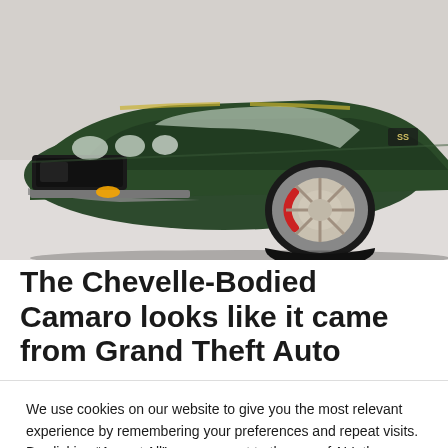[Figure (photo): Front three-quarter view of a dark green custom muscle car (Chevelle-bodied Camaro) with chrome wheels featuring red brake calipers, photographed in a showroom setting]
The Chevelle-Bodied Camaro looks like it came from Grand Theft Auto
We use cookies on our website to give you the most relevant experience by remembering your preferences and repeat visits. By clicking “Accept All”, you consent to the use of ALL the cookies. However, you may visit "Cookie Settings" to provide a controlled consent.